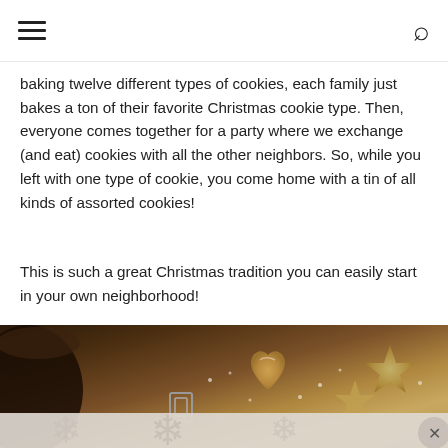[hamburger menu] [search icon]
baking twelve different types of cookies, each family just bakes a ton of their favorite Christmas cookie type. Then, everyone comes together for a party where we exchange (and eat) cookies with all the other neighbors. So, while you left with one type of cookie, you come home with a tin of all kinds of assorted cookies!
This is such a great Christmas tradition you can easily start in your own neighborhood!
[Figure (photo): Photo of Christmas cookies on a dark surface — heart-shaped and star-shaped gingerbread cookies dusted with powdered sugar, cookie cutters, and a wooden bowl, with snowflake cookie shapes partially visible at the bottom]